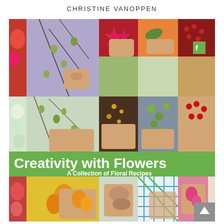CHRISTINE VANOPPEN
[Figure (photo): Book cover of 'Creativity with Flowers: A Collection of Floral Recipes' by Christine Vanoppen. The cover features a collage grid of photographs showing hands working with flowers, berries, branches, and other floral materials. A large green banner across the lower portion of the cover displays the book title in white bold text.]